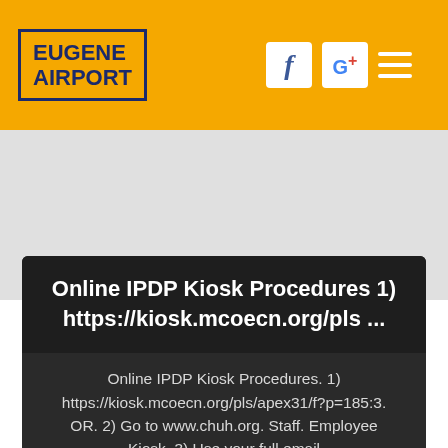[Figure (logo): Eugene Airport logo — dark blue bold text 'EUGENE AIRPORT' inside a dark blue border box on orange background]
[Figure (screenshot): Facebook and Google+ social media icon buttons (white squares) in orange header bar, plus hamburger menu icon (three white lines)]
Online IPDP Kiosk Procedures 1) https://kiosk.mcoecn.org/pls ...
Online IPDP Kiosk Procedures. 1) https://kiosk.mcoecn.org/pls/apex31/f?p=185:3. OR. 2) Go to www.chuh.org. Staff. Employee Kiosk. 3) Use your full email